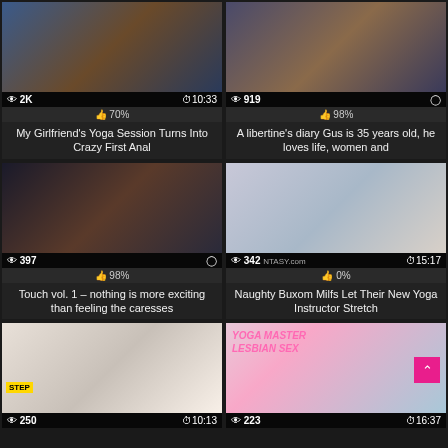[Figure (screenshot): Video thumbnail grid showing 6 adult video cards with thumbnails, view counts, durations, like percentages, and titles]
👁 2K  🕐10:33  👍 70%
My Girlfriend's Yoga Session Turns Into Crazy First Anal
👁 919  🕐 (no duration shown)  👍 98%
A libertine's diary Gus is 35 years old, he loves life, women and
👁 397  👍 98%
Touch vol. 1 – nothing is more exciting than feeling the caresses
👁 342  🕐15:17  👍 0%
Naughty Buxom Milfs Let Their New Yoga Instructor Stretch
👁 250  🕐10:13
👁 223  🕐16:37